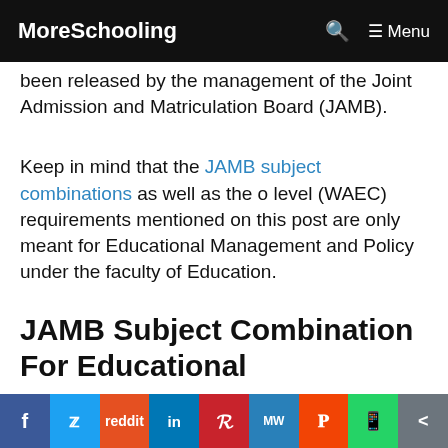MoreSchooling   🔍   ☰ Menu
been released by the management of the Joint Admission and Matriculation Board (JAMB).
Keep in mind that the JAMB subject combinations as well as the o level (WAEC) requirements mentioned on this post are only meant for Educational Management and Policy under the faculty of Education.
JAMB Subject Combination For Educational
f  🐦  reddit  in  P  MW  mix  whatsapp  share